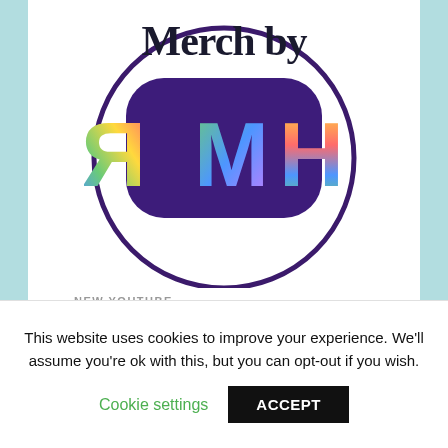[Figure (logo): Merch by RMH logo: circular outline with cursive 'Merch by' text at top, and a purple rounded rectangle containing rainbow-colored letters 'RMH' (mirrored R, M, H)]
NEW YOUTUBE
[Figure (screenshot): YouTube video thumbnail preview (red background with white play button)]
This website uses cookies to improve your experience. We'll assume you're ok with this, but you can opt-out if you wish.
Cookie settings
ACCEPT